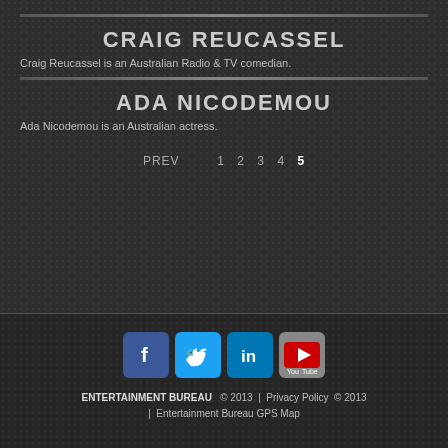CRAIG REUCASSEL
Craig Reucassel is an Australian Radio & TV comedian.
ADA NICODEMOU
Ada Nicodemou is an Australian actress.
PREV  1  2  3  4  5
[Figure (other): Social media icons: Facebook, Twitter, LinkedIn, YouTube]
ENTERTAINMENT BUREAU © 2013 | Privacy Policy © 2013 | Entertainment Bureau GPS Map